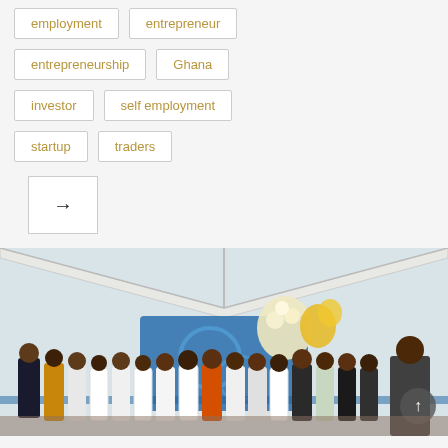employment
entrepreneur
entrepreneurship
Ghana
investor
self employment
startup
traders
[Figure (photo): Group of people standing under a tent/marquee at an event, with a floral arrangement and blue banner in the background. Most participants wear white t-shirts.]